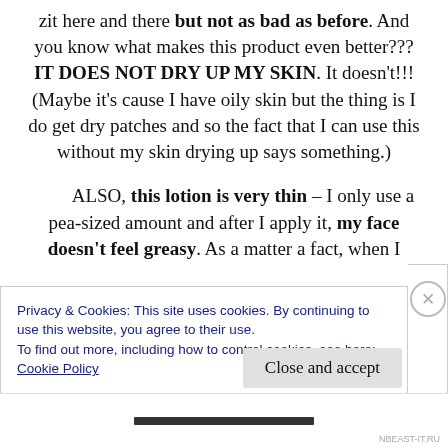zit here and there but not as bad as before. And you know what makes this product even better??? IT DOES NOT DRY UP MY SKIN. It doesn't!!! (Maybe it's cause I have oily skin but the thing is I do get dry patches and so the fact that I can use this without my skin drying up says something.)
ALSO, this lotion is very thin – I only use a pea-sized amount and after I apply it, my face doesn't feel greasy. As a matter a fact, when I
Privacy & Cookies: This site uses cookies. By continuing to use this website, you agree to their use.
To find out more, including how to control cookies, see here:
Cookie Policy
Close and accept